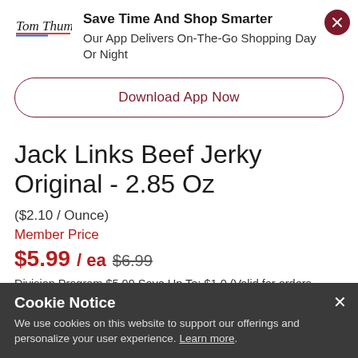[Figure (logo): Tom Thumb logo with cursive text and red/blue underline]
Save Time And Shop Smarter
Our App Delivers On-The-Go Shopping Day Or Night
Download App Now
Jack Links Beef Jerky Original - 2.85 Oz
($2.10 / Ounce)
Member Price
$5.99 / ea $6.99
Division Program $5.99 Save Up To: $1.0 (Valid for orders through
Cookie Notice
We use cookies on this website to support our offerings and personalize your user experience. Learn more.